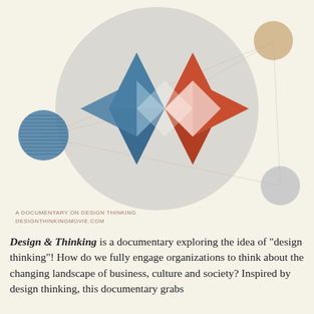[Figure (illustration): Documentary poster for 'Design & Thinking' showing geometric diamond shapes made of blue and red-orange triangles overlaid on a large grey circle, with smaller decorative circles (blue textured, tan, grey) connected by thin lines on a cream/beige background.]
A DOCUMENTARY ON DESIGN THINKING
DESIGNTHINKINGMOVIE.COM
Design & Thinking is a documentary exploring the idea of "design thinking"! How do we fully engage organizations to think about the changing landscape of business, culture and society? Inspired by design thinking, this documentary grabs